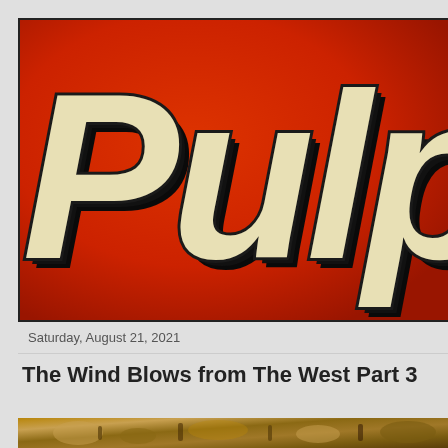[Figure (logo): Pulp magazine/blog logo banner — red background with large cream/off-white bold italic 'PULP' text with thick black shadow/stroke, partially cropped on the right]
Saturday, August 21, 2021
The Wind Blows from The West Part 3
[Figure (photo): Bottom strip of a photo showing what appears to be a golden/brass mechanical or western-themed object, partially visible at the bottom edge of the page]